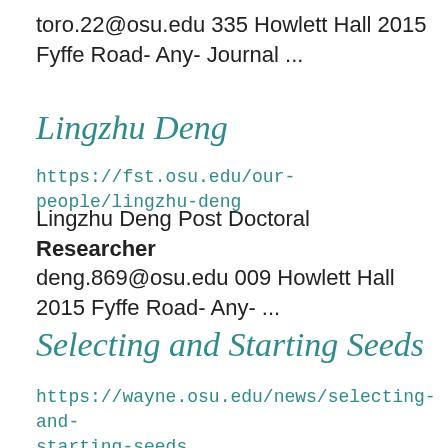toro.22@osu.edu 335 Howlett Hall 2015 Fyffe Road- Any- Journal ...
Lingzhu Deng
https://fst.osu.edu/our-people/lingzhu-deng
Lingzhu Deng Post Doctoral Researcher deng.869@osu.edu 009 Howlett Hall 2015 Fyffe Road- Any- ...
Selecting and Starting Seeds
https://wayne.osu.edu/news/selecting-and-starting-seeds
provides research and related educational programs to clientele on a nondiscriminatory basis. For more